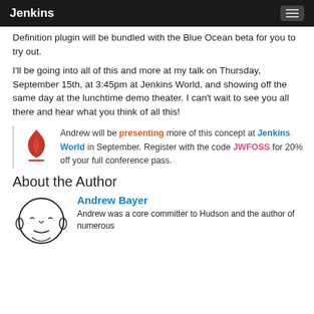Jenkins
Definition plugin will be bundled with the Blue Ocean beta for you to try out.
I'll be going into all of this and more at my talk on Thursday, September 15th, at 3:45pm at Jenkins World, and showing off the same day at the lunchtime demo theater. I can't wait to see you all there and hear what you think of all this!
Andrew will be presenting more of this concept at Jenkins World in September. Register with the code JWFOSS for 20% off your full conference pass.
About the Author
Andrew Bayer
Andrew was a core committer to Hudson and the author of numerous